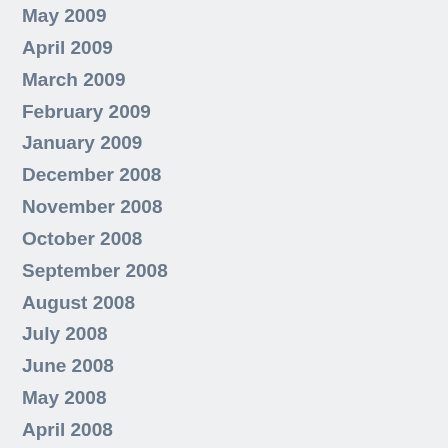May 2009
April 2009
March 2009
February 2009
January 2009
December 2008
November 2008
October 2008
September 2008
August 2008
July 2008
June 2008
May 2008
April 2008
March 2008
February 2008